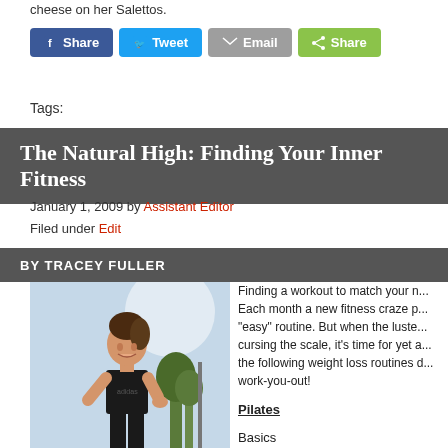cheese on her Salettos.
[Figure (infographic): Social sharing buttons: Facebook Share, Twitter Tweet, Email, and a generic Share button]
Tags:
The Natural High: Finding Your Inner Fitness
January 1, 2009 by Assistant Editor
Filed under Edit
BY TRACEY FULLER
[Figure (photo): Woman in black athletic wear smiling outdoors]
Finding a workout to match your n... Each month a new fitness craze p... "easy" routine. But when the luste... cursing the scale, it's time for yet a... the following weight loss routines d... work-you-out!
Pilates
Basics
Developed in Germany by Joseph